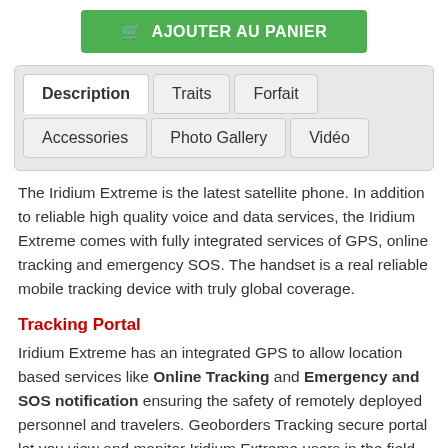[Figure (other): Green 'AJOUTER AU PANIER' (Add to Cart) button with shopping cart icon]
[Figure (other): Tab navigation with tabs: Description (active), Traits, Forfait, Accessories, Photo Gallery, Vidéo]
The Iridium Extreme is the latest satellite phone. In addition to reliable high quality voice and data services, the Iridium Extreme comes with fully integrated services of GPS, online tracking and emergency SOS. The handset is a real reliable mobile tracking device with truly global coverage.
Tracking Portal
Iridium Extreme has an integrated GPS to allow location based services like Online Tracking and Emergency and SOS notification ensuring the safety of remotely deployed personnel and travelers. Geoborders Tracking secure portal let you view and monitor Iridium Extreme users in the field with Google